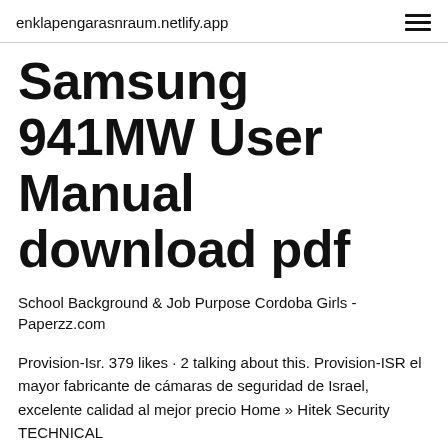enklapengarasnraum.netlify.app
Samsung 941MW User Manual download pdf
School Background & Job Purpose Cordoba Girls - Paperzz.com
Provision-Isr. 379 likes · 2 talking about this. Provision-ISR el mayor fabricante de cámaras de seguridad de Israel, excelente calidad al mejor precio Home » Hitek Security TECHNICAL